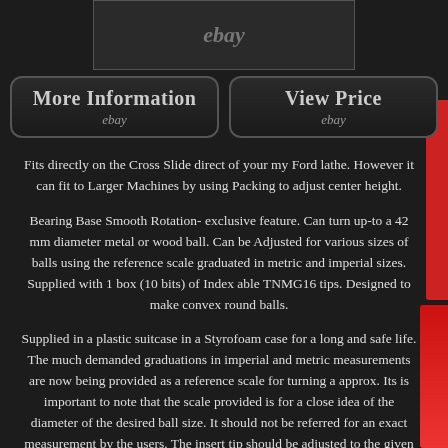[Figure (photo): Partial eBay product image at top]
More Information
ebay
View Price
ebay
Fits directly on the Cross Slide direct of your my Ford lathe. However it can fit to Larger Machines by using Packing to adjust center height.
Bearing Base Smooth Rotation- exclusive feature. Can turn up-to a 42 mm diameter metal or wood ball. Can be Adjusted for various sizes of balls using the reference scale graduated in metric and imperial sizes. Supplied with 1 box (10 bits) of Index able TNMG16 tips. Designed to make convex round balls.
Supplied in a plastic suitcase in a Styrofoam case for a long and safe life. The much demanded graduations in imperial and metric measurements are now being provided as a reference scale for turning a approx. Its is important to note that the scale provided is for a close idea of the diameter of the desired ball size. It should not be referred for an exact measurement by the users. The insert tip should be adjusted to the given reading for achieving the desired size of the